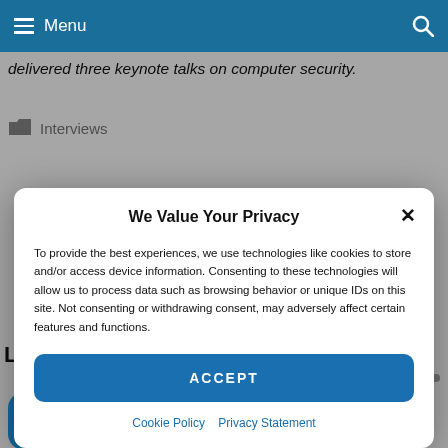Menu
delivered three keynote talks on computer security.
Interviews
We Value Your Privacy
To provide the best experiences, we use technologies like cookies to store and/or access device information. Consenting to these technologies will allow us to process data such as browsing behavior or unique IDs on this site. Not consenting or withdrawing consent, may adversely affect certain features and functions.
ACCEPT
Cookie Policy   Privacy Statement
Latest Videos
[Figure (other): Social sharing buttons: Twitter, Facebook, Email, Messenger, WhatsApp, Share]